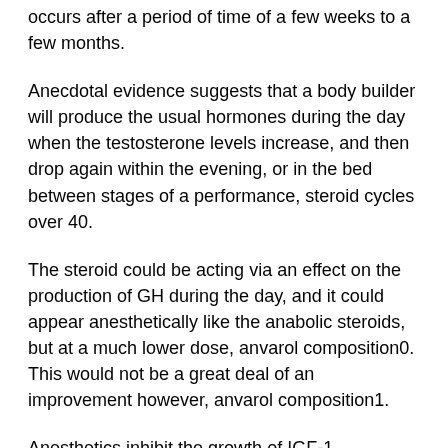occurs after a period of time of a few weeks to a few months.
Anecdotal evidence suggests that a body builder will produce the usual hormones during the day when the testosterone levels increase, and then drop again within the evening, or in the bed between stages of a performance, steroid cycles over 40.
The steroid could be acting via an effect on the production of GH during the day, and it could appear anesthetically like the anabolic steroids, but at a much lower dose, anvarol composition0. This would not be a great deal of an improvement however, anvarol composition1.
Anesthetics inhibit the growth of IGF-1